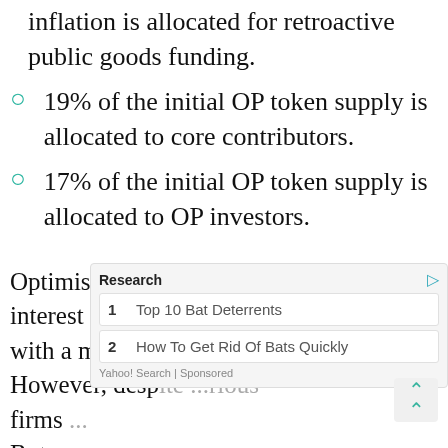inflation is allocated for retroactive public goods funding.
19% of the initial OP token supply is allocated to core contributors.
17% of the initial OP token supply is allocated to OP investors.
Optimism-based projects have spiked the interest of both developers and people with a monetary interest in the token. However, desp[ite] various firms [...]
Buter[in ...] en from [...]